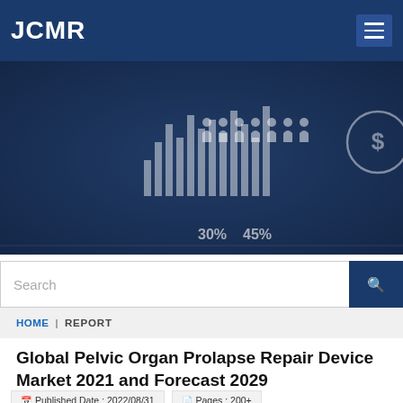JCMR
[Figure (photo): Dark blue hero banner with business/data analytics imagery showing bar charts, people icons, percentage labels (30%, 45%), and a dollar sign icon overlay on dark background]
Search
HOME | REPORT
Global Pelvic Organ Prolapse Repair Device Market 2021 and Forecast 2029
Published Date : 2022/08/31
Pages : 200+